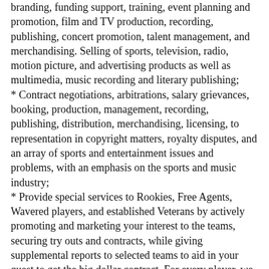branding, funding support, training, event planning and promotion, film and TV production, recording, publishing, concert promotion, talent management, and merchandising. Selling of sports, television, radio, motion picture, and advertising products as well as multimedia, music recording and literary publishing;
* Contract negotiations, arbitrations, salary grievances, booking, production, management, recording, publishing, distribution, merchandising, licensing, to representation in copyright matters, royalty disputes, and an array of sports and entertainment issues and problems, with an emphasis on the sports and music industry;
* Provide special services to Rookies, Free Agents, Wavered players, and established Veterans by actively promoting and marketing your interest to the teams, securing try outs and contracts, while giving supplemental reports to selected teams to aid in your quest to get the big dollar contract. For every player, we secure alternate contracts with foreign teams in Canada, Asia, Europe, Latin America, Mexico, Africa, the Islands, as well as other American teams here. We secure contracts for try outs, tours, tournaments and leagues,